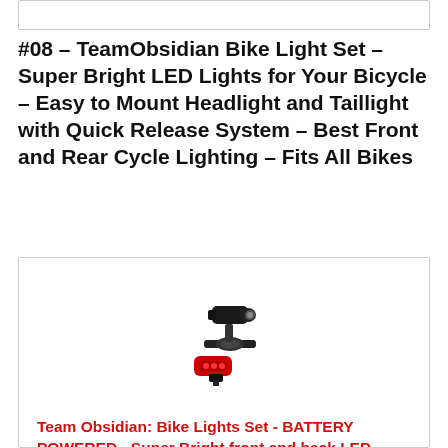[Figure (other): Empty white box at top of page (placeholder or image not loaded)]
#08 – TeamObsidian Bike Light Set – Super Bright LED Lights for Your Bicycle – Easy to Mount Headlight and Taillight with Quick Release System – Best Front and Rear Cycle Lighting – Fits All Bikes
[Figure (photo): Photo of a bike light set: black front headlight mounted on handlebar bracket and a red rear taillight, both shown as the TeamObsidian bike lights product]
Team Obsidian: Bike Lights Set - BATTERY POWERED - Super Bright front and back LED Lights for Your Bicycle - Easy to Mount Bike Headlight and Tail Light for Night Riding